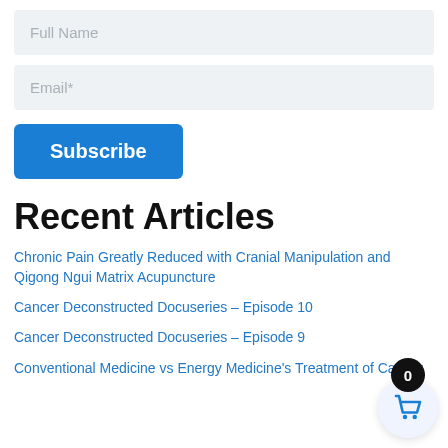Full Name
Email*
Subscribe
Recent Articles
Chronic Pain Greatly Reduced with Cranial Manipulation and Qigong Ngui Matrix Acupuncture
Cancer Deconstructed Docuseries – Episode 10
Cancer Deconstructed Docuseries – Episode 9
Conventional Medicine vs Energy Medicine's Treatment of Cancer